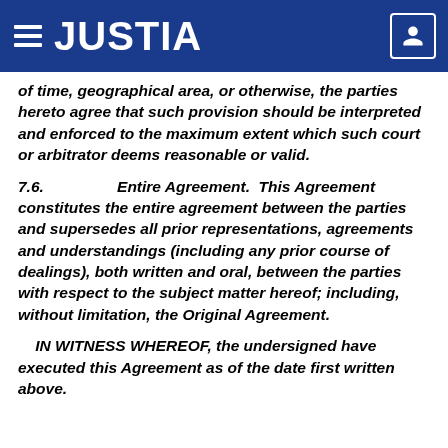JUSTIA
of time, geographical area, or otherwise, the parties hereto agree that such provision should be interpreted and enforced to the maximum extent which such court or arbitrator deems reasonable or valid.
7.6. Entire Agreement. This Agreement constitutes the entire agreement between the parties and supersedes all prior representations, agreements and understandings (including any prior course of dealings), both written and oral, between the parties with respect to the subject matter hereof; including, without limitation, the Original Agreement.
IN WITNESS WHEREOF, the undersigned have executed this Agreement as of the date first written above.